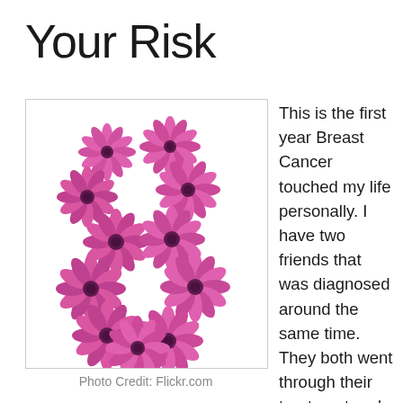Your Risk
[Figure (illustration): A breast cancer awareness ribbon formed by pink daisy flowers arranged in the shape of a ribbon, on a white background.]
Photo Credit: Flickr.com
This is the first year Breast Cancer touched my life personally. I have two friends that was diagnosed around the same time. They both went through their treatment and are doing well. Staying in contact with them both and